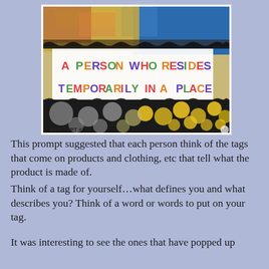[Figure (illustration): Mixed media art piece showing collage with colorful textures, dots pattern in yellow and black, blue area, and a white label reading 'A PERSON WHO RESIDES TEMPORARILY IN A PLACE'. Text at bottom reads 'PROMPT #150'.]
This prompt suggested that each person think of the tags that come on products and clothing, etc that tell what the product is made of.
Think of a tag for yourself…what defines you and what describes you?  Think of a word or words to put on your tag.

It was interesting to see the ones that have popped up